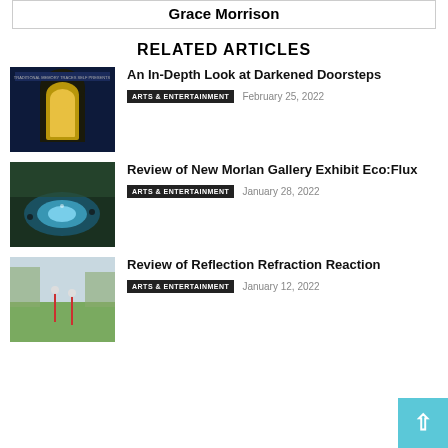Grace Morrison
RELATED ARTICLES
[Figure (photo): Album cover with a glowing yellow arched door on a dark blue background with text above]
An In-Depth Look at Darkened Doorsteps
ARTS & ENTERTAINMENT   February 25, 2022
[Figure (photo): Aerial or projection art image showing a blue glowing scene with figures around a light pool]
Review of New Morlan Gallery Exhibit Eco:Flux
ARTS & ENTERTAINMENT   January 28, 2022
[Figure (photo): Outdoor scene with figures in a grassy area, pink/red tones]
Review of Reflection Refraction Reaction
ARTS & ENTERTAINMENT   January 12, 2022